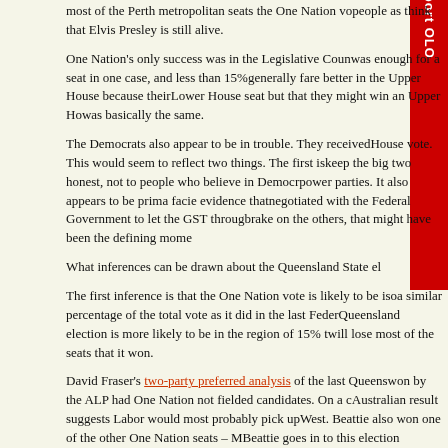most of the Perth metropolitan seats the One Nation vo… people as think that Elvis Presley is still alive.
One Nation's only success was in the Legislative Coun… was enough for a seat in one case, and less than 15%… generally fare better in the Upper House because their… Lower House seat but that they might win an Upper Ho… was basically the same.
The Democrats also appear to be in trouble. They received… House vote. This would seem to reflect two things. The first is… keep the big two honest, not to people who believe in Democr… power parties. It also appears to be prima facie evidence that… negotiated with the Federal Government to let the GST throug… brake on the others, that might have been the defining mome…
What inferences can be drawn about the Queensland State el…
The first inference is that the One Nation vote is likely to be iso… a similar percentage of the total vote as it did in the last Feder… Queensland election is more likely to be in the region of 15% t… will lose most of the seats that it won.
David Fraser's two-party preferred analysis of the last Queens… won by the ALP had One Nation not fielded candidates. On a c… Australian result suggests Labor would most probably pick up… West. Beattie also won one of the other One Nation seats – M… Beattie goes in to this election defending effectively 51 seats,
Advert
The second inference is that voters do not really think that On… prepared to elect 4 Independents in Lower House seats, but n… voting outside the major parties, they are just particular about…